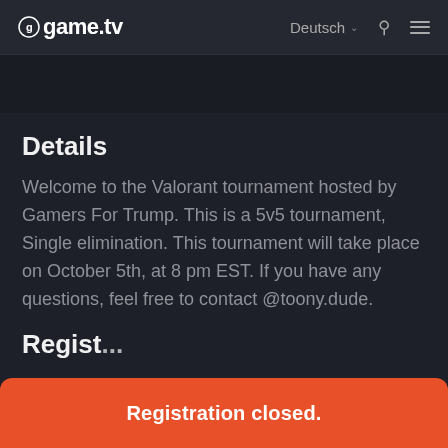game.tv  Deutsch  ☰
Details
Welcome to the Valorant tournament hosted by Gamers For Trump. This is a 5v5 tournament, Single elimination. This tournament will take place on October 5th, at 8 pm EST. If you have any questions, feel free to contact @toony.dude.
Regist...
Registration closed.